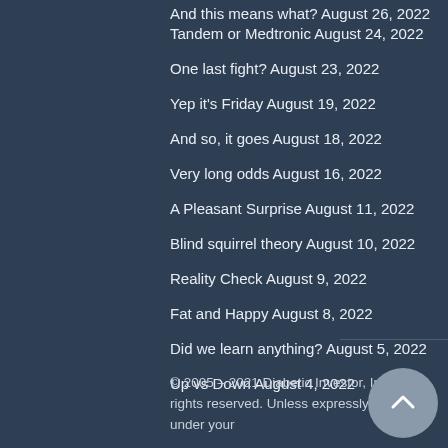And this means what? August 26, 2022
Tandem or Medtronic August 24, 2022
One last fight? August 23, 2022
Yep it's Friday August 19, 2022
And so, it goes August 18, 2022
Very long odds August 16, 2022
A Pleasant Surprise August 11, 2022
Blind squirrel theory August 10, 2022
Reality Check August 9, 2022
Fat and Happy August 8, 2022
Did we learn anything? August 5, 2022
Up vs Down August 4, 2022
© 2005 – 2021 Diabetic Investor, Inc., all rights reserved. Unless expressly permitted under your